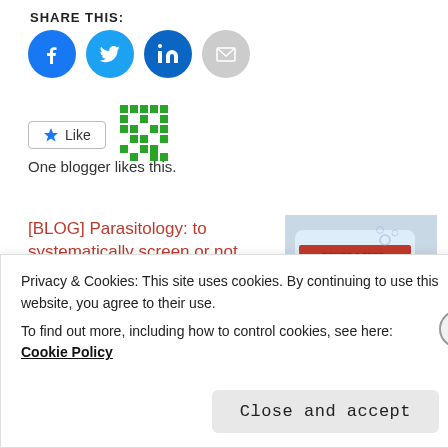SHARE THIS:
[Figure (other): Social sharing icons: Facebook (blue circle), Twitter (blue circle), LinkedIn (blue circle), Email (grey circle)]
[Figure (other): Like button with star icon and QR-style dots graphic. Text below: One blogger likes this.]
One blogger likes this.
[BLOG] Parasitology: to systematically screen or not, this is the question...
March 25, 2016
In "Blog"
[Figure (photo): Photo of a hydrogen peroxide bottle labeled 'Power & Free' with text 'HYDROGEN PEROXIDE']
[BLOG] Hydrogen
Privacy & Cookies: This site uses cookies. By continuing to use this website, you agree to their use.
To find out more, including how to control cookies, see here: Cookie Policy
Close and accept